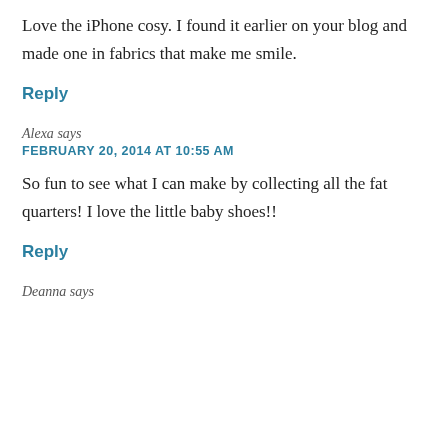Love the iPhone cosy. I found it earlier on your blog and made one in fabrics that make me smile.
Reply
Alexa says
FEBRUARY 20, 2014 AT 10:55 AM
So fun to see what I can make by collecting all the fat quarters! I love the little baby shoes!!
Reply
Deanna says